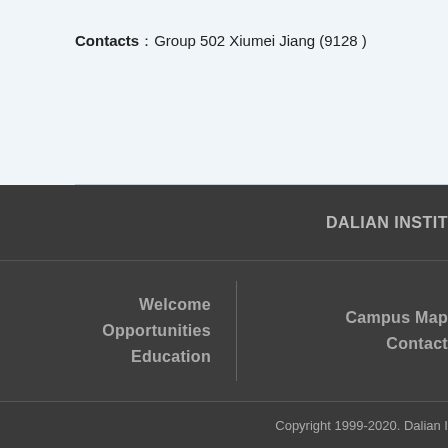Contacts：Group 502 Xiumei Jiang (9128 )
DALIAN INSTIT
Welcome
Opportunities
Education
Campus Map
Contact
Copyright 1999-2020. Dalian I